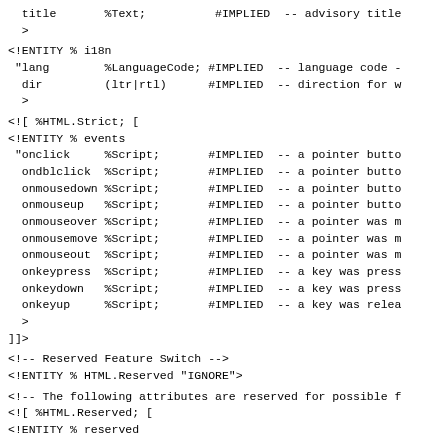title       %Text;          #IMPLIED  -- advisory title
  >
<!ENTITY % i18n
 "lang        %LanguageCode; #IMPLIED  -- language code -
  dir         (ltr|rtl)      #IMPLIED  -- direction for w
  >
<![ %HTML.Strict; [
<!ENTITY % events
 "onclick     %Script;       #IMPLIED  -- a pointer butto
  ondblclick  %Script;       #IMPLIED  -- a pointer butto
  onmousedown %Script;       #IMPLIED  -- a pointer butto
  onmouseup   %Script;       #IMPLIED  -- a pointer butto
  onmouseover %Script;       #IMPLIED  -- a pointer was m
  onmousemove %Script;       #IMPLIED  -- a pointer was m
  onmouseout  %Script;       #IMPLIED  -- a pointer was m
  onkeypress  %Script;       #IMPLIED  -- a key was press
  onkeydown   %Script;       #IMPLIED  -- a key was press
  onkeyup     %Script;       #IMPLIED  -- a key was relea
  >
]]>
<!-- Reserved Feature Switch -->
<!ENTITY % HTML.Reserved "IGNORE">
<!-- The following attributes are reserved for possible f
<![ %HTML.Reserved; [
<!ENTITY % reserved